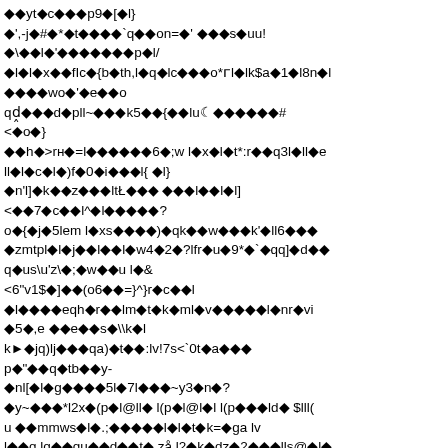��yt�c���p9�[�l}
�',-j�#�*�t����`q��on=�' ���s�uu!
�\<>�l�'�������p�l/
��l��x��fIc�{b�th,l�q�lc���o*э l̈lk$a�1̈l8n̈l
����wo�'̈le��o
q3̈l���d̈lpll~���k5��{̈l��luy̆������#
<̈lo̊}
̈l̈lḧl>rн̈l=l̈l̈l̈l̈l̈l6̊;w l̈lẍll̈lt*:r̈l̈lq3l̈lll̈le
lll̈lc̈ll̈l)f̈l0̈lïl̈l̈ll{̈ll}
̈ln'l]̈lk̈l̈lz̈l̈l̈lltŁ̈l̈l̈l ̈l̈l̈ll̈l̈ll̈ll]
<̈l̈l7̈lc̈l̈ll^̈ll̈l̈l̈l̈l̈l?
öl{̈lj̈l5lem l̈lxs̈l̈l̈l̈l)̈lqk̈l̈lẅl̈l̈lk'̈lll6̈l̈l̈l
̈lzmtpl̈ll̈lj̈l̈ll̈l̈ll̈lw4̈l2̈l?lfr̈lül9*̈l`̈lqq]̈ld̈l̈l
q̈lus\u'z\̈l;̈lẅl̈lu l̈l&
<6"v1$̈l]̈l̈l(o6̈l̈l=}^}r̈lc̈l̈ll
̈ll̈l̈l̈l̈leqḧlr̈l̈llm̈lẗlk̈lml̈lv̈l̈l̈l̈l̈ll̈lnr̈lvi
̈l5̈l,e ̈l̈lël̈ls̈l\\k̈ll
k̦̈ljq)lj̈l̈l̈lqa)̈lẗl̈l:lv!7s<`0ẗläl̈l̈l
p̈l"̈l̈lq̈ltb̈l̈ly-
̈lnl[̈ll̈lg̈l̈l̈l̈l5l̈l7l̈l̈l̈l~y3̈ln̈l?
̈ly~̈l̈l̈l*l2ẍl(p̈ll@ll̈l l(p̈ll@l̈ll l(p̈l̈l̈lld̈l $lll(
u ̈l̈lmmws̈ll̈l.;̈l̈l̈l̈l̈ll̈ll̈lẗlk=̈lga lv
l̈l̈lq lq̈l̈lqül̈ld̈l̈lẗl zå l2̈lk̈ldz̈l2̈l̈l̈llls@̈ll̈l
̈l*̈l̈ln̈loẙl̈ls]̈l̈l̈läl̈llx#l̈lr li ̈ll̈l l̈ll̈l